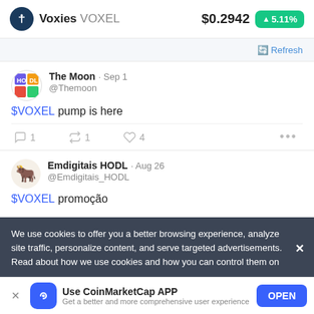Voxies VOXEL $0.2942 ▲5.11%
🔄 Refresh
The Moon · Sep 1 @Themoon
$VOXEL pump is here
💬 1  🔁 1  ♡ 4  •••
Emdigitais HODL · Aug 26 @Emdigitais_HODL
$VOXEL promoção
We use cookies to offer you a better browsing experience, analyze site traffic, personalize content, and serve targeted advertisements. Read about how we use cookies and how you can control them on
Use CoinMarketCap APP
Get a better and more comprehensive user experience